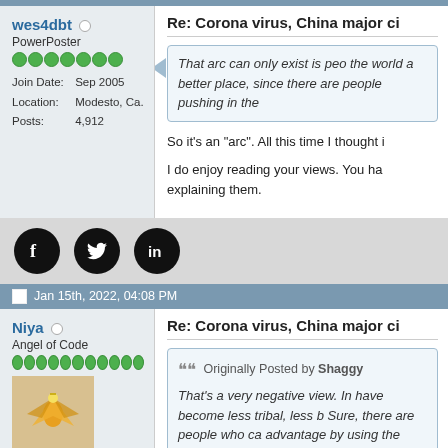wes4dbt
PowerPoster
Join Date: Sep 2005
Location: Modesto, Ca.
Posts: 4,912
Re: Corona virus, China major ci
That arc can only exist is peo... the world a better place, since ... there are people pushing in the...
So it's an "arc". All this time I thought i
I do enjoy reading your views. You ha... explaining them.
[Figure (logo): Facebook, Twitter, LinkedIn social media icons (black circles with white logos)]
Jan 15th, 2022, 04:08 PM
Niya
Angel of Code
[Figure (illustration): Avatar image of golden angel/phoenix figure on light background]
Join Date: Nov 2011
Posts: 7,767
Re: Corona virus, China major ci
Originally Posted by Shaggy
That's a very negative view. In... have become less tribal, less b... Sure, there are people who ca... advantage by using the rules t... breaking the rules, and usually